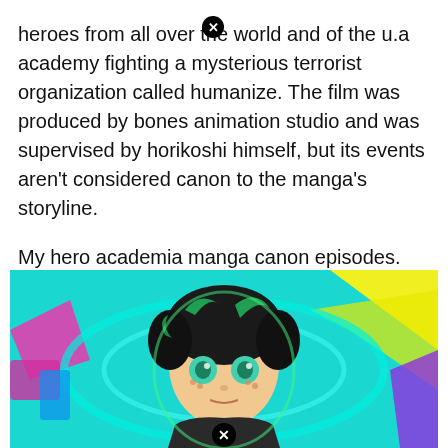heroes from all over the world and of the u.a academy fighting a mysterious terrorist organization called humanize. The film was produced by bones animation studio and was supervised by horikoshi himself, but its events aren't considered canon to the manga's storyline.
My hero academia manga canon episodes. World heroes' mission unveiled more cast members that are going to represent each of the characters. The anime series my hero academia began airing in 2016 and is still ongoing.
Are the my hero academia movies canon.
[Figure (illustration): Anime illustration of a green-haired hero character (Deku from My Hero Academia) surrounded by colorful energy effects including teal, yellow, pink, and purple colors.]